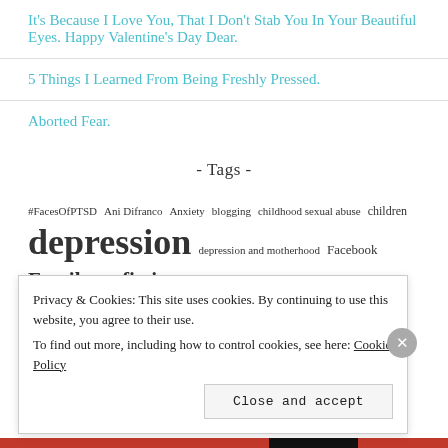It's Because I Love You, That I Don't Stab You In Your Beautiful Eyes. Happy Valentine's Day Dear.
5 Things I Learned From Being Freshly Pressed.
Aborted Fear.
- Tags -
#FacesOfPTSD Ani Difranco Anxiety blogging childhood sexual abuse children depression depression and motherhood Facebook Family fear fiction
Privacy & Cookies: This site uses cookies. By continuing to use this website, you agree to their use. To find out more, including how to control cookies, see here: Cookie Policy
Close and accept